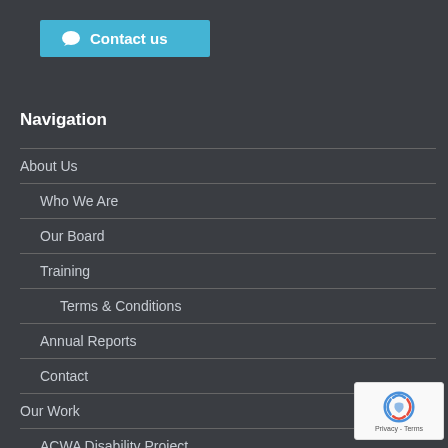Contact us
Navigation
About Us
Who We Are
Our Board
Training
Terms & Conditions
Annual Reports
Contact
Our Work
ACWA Disability Project
ACWA eSafety Project
Reports & Submissions
Summary – Aftercare assistance